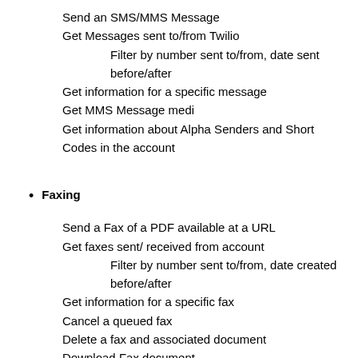Send an SMS/MMS Message
Get Messages sent to/from Twilio
Filter by number sent to/from, date sent before/after
Get information for a specific message
Get MMS Message medi
Get information about Alpha Senders and Short Codes in the account
Faxing
Send a Fax of a PDF available at a URL
Get faxes sent/ received from account
Filter by number sent to/from, date created before/after
Get information for a specific fax
Cancel a queued fax
Delete a fax and associated document
Download Fax document
Phone Numbers